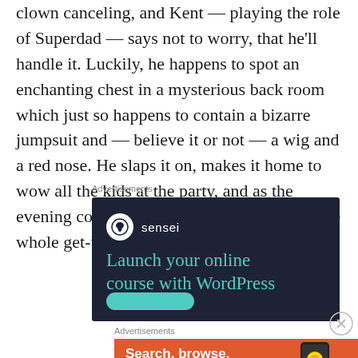clown canceling, and Kent — playing the role of Superdad — says not to worry, that he'll handle it. Luckily, he happens to spot an enchanting chest in a mysterious back room which just so happens to contain a bizarre jumpsuit and — believe it or not — a wig and a red nose. He slaps it on, makes it home to wow all the kids at the party, and as the evening comes to a close, falls asleep with the whole get-up still on.
Advertisements
[Figure (illustration): Dark navy advertisement banner for Sensei featuring the Sensei logo (white circle with tree/person icon and 'sensei' text), headline 'Launch your online course with WordPress' in teal/green color, and a teal button at the bottom.]
Advertisements
[Figure (illustration): Orange advertisement banner for DuckDuckGo with white bold text 'Search, browse, and email with more privacy.' and a phone mockup with DuckDuckGo duck logo on the right side.]